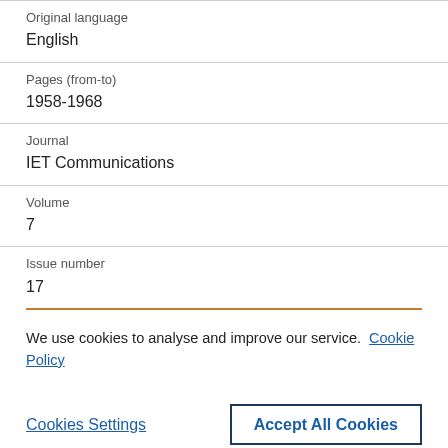Original language
English
Pages (from-to)
1958-1968
Journal
IET Communications
Volume
7
Issue number
17
We use cookies to analyse and improve our service. Cookie Policy
Cookies Settings
Accept All Cookies